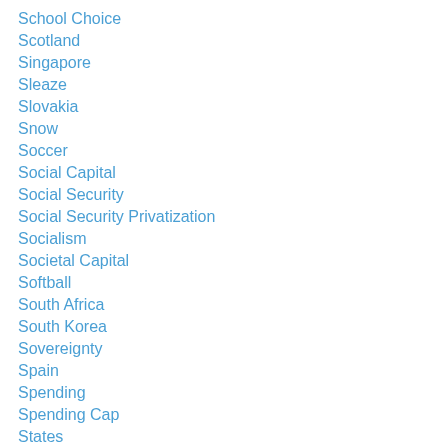School Choice
Scotland
Singapore
Sleaze
Slovakia
Snow
Soccer
Social Capital
Social Security
Social Security Privatization
Socialism
Societal Capital
Softball
South Africa
South Korea
Sovereignty
Spain
Spending
Spending Cap
States